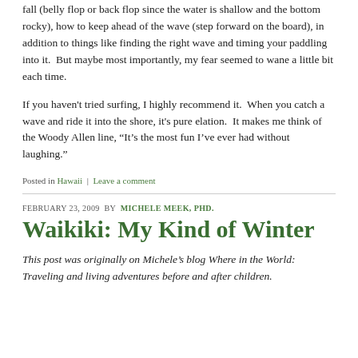fall (belly flop or back flop since the water is shallow and the bottom rocky), how to keep ahead of the wave (step forward on the board), in addition to things like finding the right wave and timing your paddling into it.  But maybe most importantly, my fear seemed to wane a little bit each time.
If you haven't tried surfing, I highly recommend it.  When you catch a wave and ride it into the shore, it's pure elation.  It makes me think of the Woody Allen line, “It's the most fun I've ever had without laughing.”
Posted in Hawaii | Leave a comment
FEBRUARY 23, 2009 BY MICHELE MEEK, PHD.
Waikiki: My Kind of Winter
This post was originally on Michele’s blog Where in the World: Traveling and living adventures before and after children.